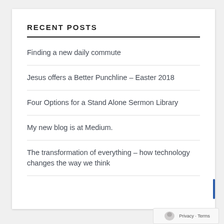RECENT POSTS
Finding a new daily commute
Jesus offers a Better Punchline – Easter 2018
Four Options for a Stand Alone Sermon Library
My new blog is at Medium.
The transformation of everything – how technology changes the way we think